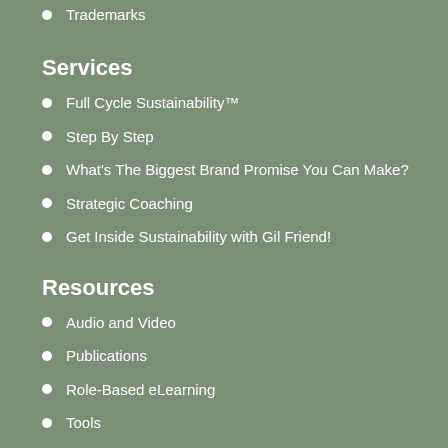Trademarks
Services
Full Cycle Sustainability™
Step By Step
What's The Biggest Brand Promise You Can Make?
Strategic Coaching
Get Inside Sustainability with Gil Friend!
Resources
Audio and Video
Publications
Role-Based eLearning
Tools